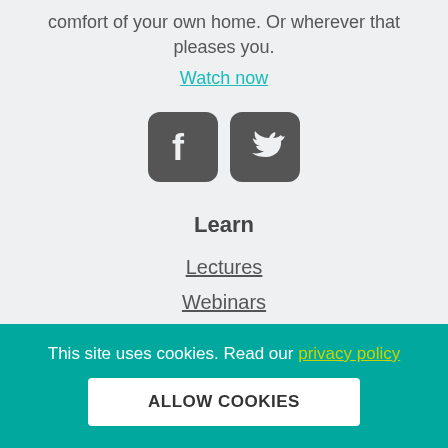comfort of your own home. Or wherever that pleases you.
Watch now
[Figure (illustration): Facebook and Twitter social media icons side by side, dark grey rounded square buttons]
Learn
Lectures
Webinars
Speakers
Blog
This site uses cookies. Read our privacy policy
ALLOW COOKIES